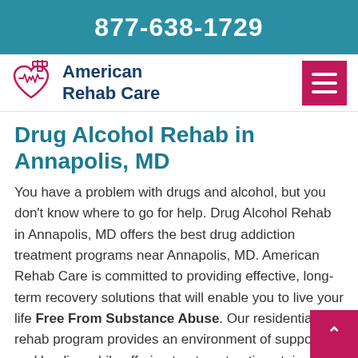877-638-1729
[Figure (logo): American Rehab Care logo with heart and cross icon, teal and pink colors]
Drug Alcohol Rehab in Annapolis, MD
You have a problem with drugs and alcohol, but you don't know where to go for help. Drug Alcohol Rehab in Annapolis, MD offers the best drug addiction treatment programs near Annapolis, MD. American Rehab Care is committed to providing effective, long-term recovery solutions that will enable you to live your life Free From Substance Abuse. Our residential rehab program provides an environment of support and healing while offering treatment options tailored...